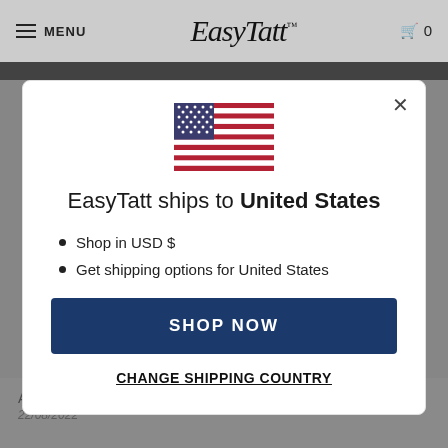MENU  EasyTatt  0
[Figure (illustration): US flag icon displayed in center of modal]
EasyTatt ships to United States
Shop in USD $
Get shipping options for United States
SHOP NOW
CHANGE SHIPPING COUNTRY
Arrow Mountain
22/08/2022